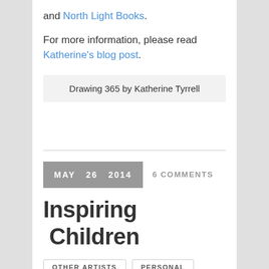and North Light Books.
For more information, please read Katherine's blog post.
Drawing 365 by Katherine Tyrrell
MAY  26  2014   6 COMMENTS
Inspiring  Children
OTHER ARTISTS   PERSONAL
Inspiring children from art...